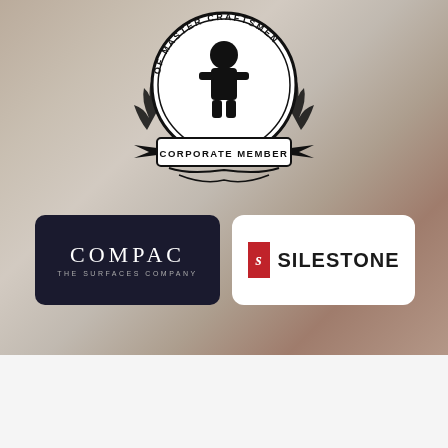[Figure (logo): Guild of Master Craftsmen Corporate Member circular badge/seal with craftsman figure and laurel wreath in black and white]
[Figure (logo): COMPAC The Surfaces Company logo on dark navy/black rounded rectangle background, white text]
[Figure (logo): SILESTONE logo on white rounded rectangle background, with red S icon on left and bold black SILESTONE text]
TEXT
OXFORD